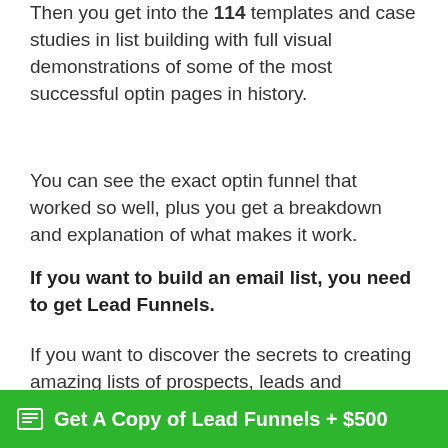Then you get into the 114 templates and case studies in list building with full visual demonstrations of some of the most successful optin pages in history.
You can see the exact optin funnel that worked so well, plus you get a breakdown and explanation of what makes it work.
If you want to build an email list, you need to get Lead Funnels.
If you want to discover the secrets to creating amazing lists of prospects, leads and customers, you can grab a copy below.
Get A Copy of Lead Funnels + $500